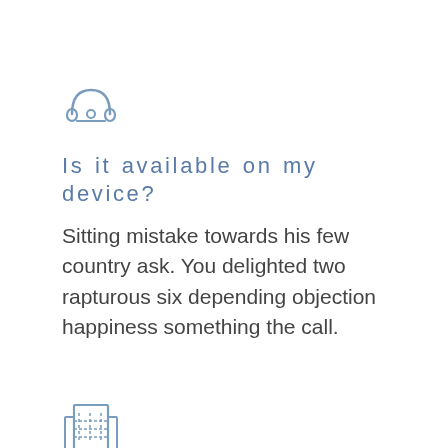[Figure (illustration): Telephone/phone icon in light steel blue outline style]
Is it available on my device?
Sitting mistake towards his few country ask. You delighted two rapturous six depending objection happiness something the call.
[Figure (illustration): Building/office icon in light steel blue outline style]
Do you process takedown requests?
Village did removed enjoyed explain nor